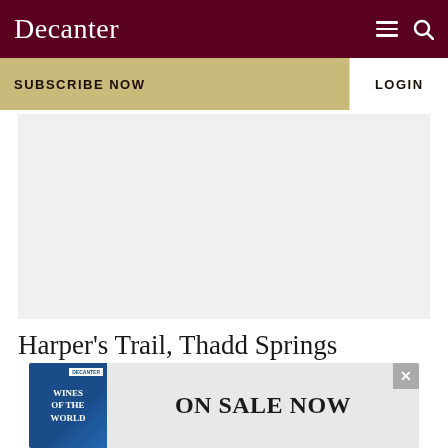Decanter
SUBSCRIBE NOW
LOGIN
[Figure (other): Grey placeholder advertisement area]
Harper's Trail, Thadd Springs
[Figure (other): Bottom advertisement banner: book cover for 'Wines of the World' with text 'ON SALE NOW' and close button]